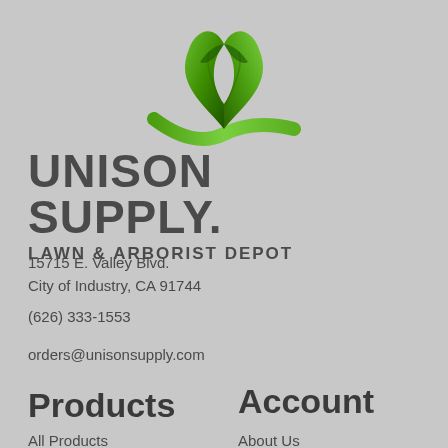[Figure (logo): Green leaf logo with two leaves and curved swoosh underneath, resembling a plant or lawn care symbol]
UNISON SUPPLY.
LAWN & ARBORIST DEPOT
15715 E. Valley Blvd.
City of Industry, CA 91744
(626) 333-1553
orders@unisonsupply.com
Products
Account
All Products
About Us